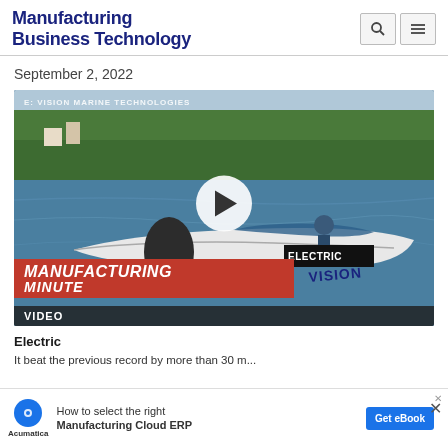Manufacturing Business Technology
September 2, 2022
[Figure (photo): Electric boat on water with 'VISION MARINE TECHNOLOGIES' watermark, play button overlay, 'MANUFACTURING MINUTE' red banner at bottom, and 'VIDEO' label]
Electric...
It beat the previous record by more than 30 mph...
[Figure (infographic): Acumatica ad banner: 'How to select the right Manufacturing Cloud ERP' with 'Get eBook' CTA button]